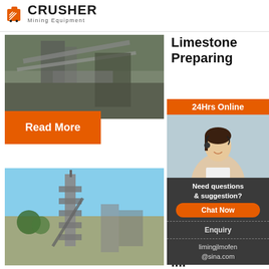[Figure (logo): Crusher Mining Equipment logo with red shopping bag icon and bold black text]
[Figure (photo): Industrial mining/crushing facility with conveyor belts and heavy machinery]
Limestone Preparing
Design Fo...
Read More
[Figure (photo): Industrial cement plant or mineral processing tower against blue sky]
Basic design extra limes from l...
[Figure (infographic): 24Hrs Online customer service widget with agent photo, Chat Now button, Enquiry link, and limingjlmofen@sina.com contact]